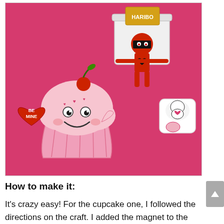[Figure (photo): Photo on a pink background showing Valentine's Day crafts: a kawaii cupcake figure holding a red heart that says 'BE MINE', a white bucket with a Haribo candy bag and a red ninja toy figure, and a white ceramic box with Snoopy decoration.]
How to make it:
It's crazy easy! For the cupcake one, I followed the directions on the craft. I added the magnet to the back and stuck it